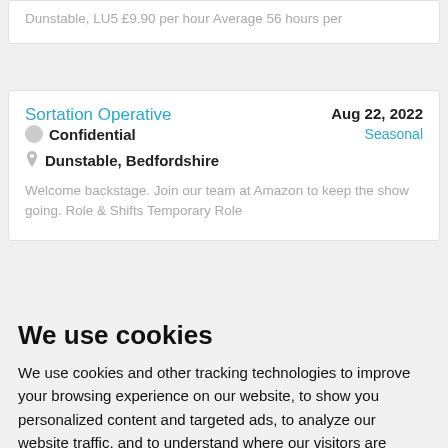Dunstable, LU5 £9.90 per hour Average 56 hours per
Sortation Operative
Aug 22, 2022
Confidential
Seasonal
Dunstable, Bedfordshire
Welcome backstage. Join our team at Amazon to keep the show going. Role & Shifts Temporary Role
We use cookies
We use cookies and other tracking technologies to improve your browsing experience on our website, to show you personalized content and targeted ads, to analyze our website traffic, and to understand where our visitors are coming from.